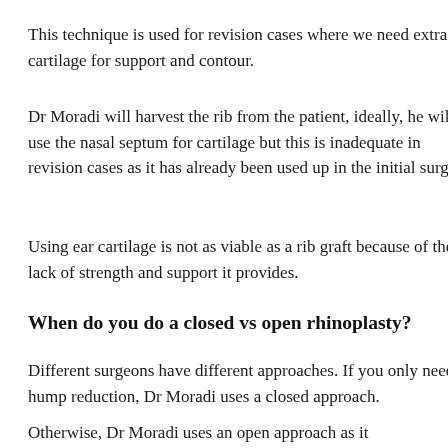This technique is used for revision cases where we need extra cartilage for support and contour.
Dr Moradi will harvest the rib from the patient, ideally, he will use the nasal septum for cartilage but this is inadequate in revision cases as it has already been used up in the initial surgery.
Using ear cartilage is not as viable as a rib graft because of the lack of strength and support it provides.
When do you do a closed vs open rhinoplasty?
Different surgeons have different approaches. If you only need a hump reduction, Dr Moradi uses a closed approach.
Otherwise, Dr Moradi uses an open approach as it